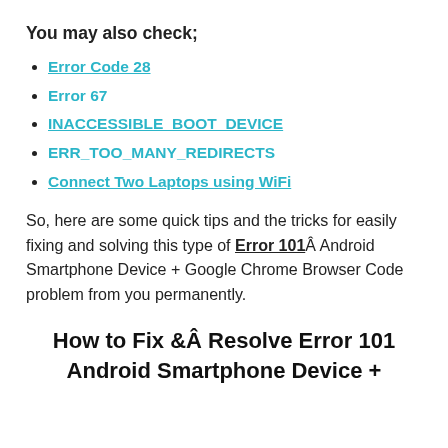You may also check;
Error Code 28
Error 67
INACCESSIBLE_BOOT_DEVICE
ERR_TOO_MANY_REDIRECTS
Connect Two Laptops using WiFi
So, here are some quick tips and the tricks for easily fixing and solving this type of Error 101Â Android Smartphone Device + Google Chrome Browser Code problem from you permanently.
How to Fix &Â Resolve Error 101 Android Smartphone Device +